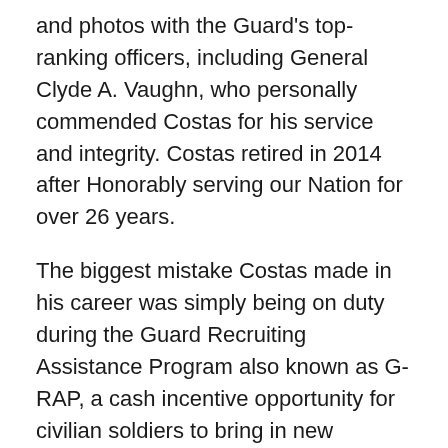and photos with the Guard's top-ranking officers, including General Clyde A. Vaughn, who personally commended Costas for his service and integrity. Costas retired in 2014 after Honorably serving our Nation for over 26 years.
The biggest mistake Costas made in his career was simply being on duty during the Guard Recruiting Assistance Program also known as G-RAP, a cash incentive opportunity for civilian soldiers to bring in new recruits. With no direction from Washington D.C.'s Strength Maintenance Division, General Vaughn's recruiters were supposed to intuit the 60 changes in the G-RAP rules over a seven-year period, while also working to fill the dwindling ranks of Guard troops.
Just before dawn, on an early October morning in 2015, Costas's home was stormed by six Federal agents and